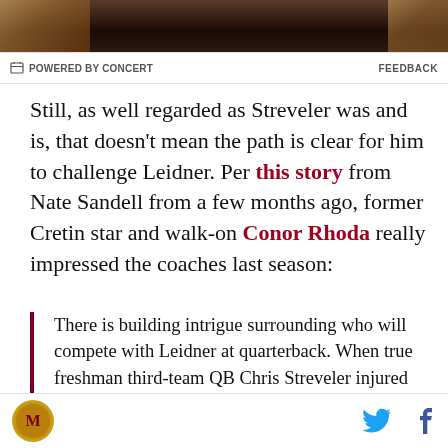[Figure (photo): Cropped photo showing dark background with partial figures on left and right edges]
⊟ POWERED BY CONCERT   FEEDBACK
Still, as well regarded as Streveler was and is, that doesn't mean the path is clear for him to challenge Leidner. Per this story from Nate Sandell from a few months ago, former Cretin star and walk-on Conor Rhoda really impressed the coaches last season:
There is building intrigue surrounding who will compete with Leidner at quarterback. When true freshman third-team QB Chris Streveler injured his hand early in the season, fellow freshman Conor Rhoda took over the primary scout team QB duties. He remained in that spot for the remainder of the
[logo] [twitter] [facebook]